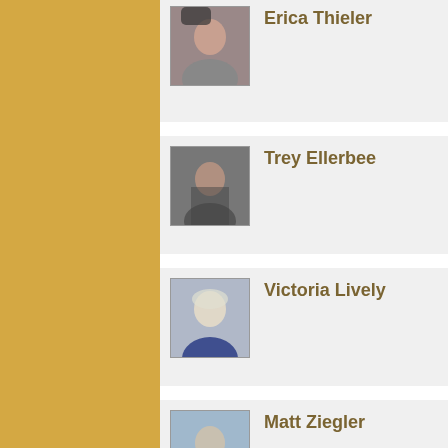Erica Thieler
Trey Ellerbee
Victoria Lively
Matt Ziegler
FEP on Twitter
Happy 2022! The FEP Live Team is available and ready to help any company needing production, ops,